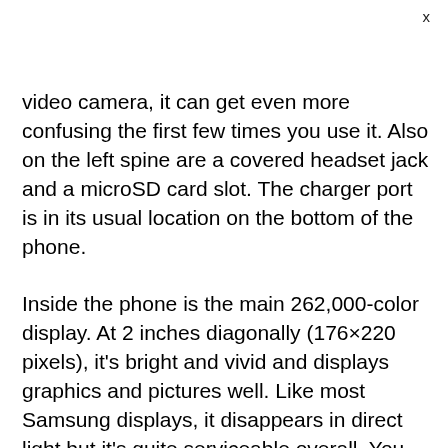x
video camera, it can get even more confusing the first few times you use it. Also on the left spine are a covered headset jack and a microSD card slot. The charger port is in its usual location on the bottom of the phone.
Inside the phone is the main 262,000-color display. At 2 inches diagonally (176×220 pixels), it's bright and vivid and displays graphics and pictures well. Like most Samsung displays, it disappears in direct light but it's quite serviceable overall. You can change the backlighting time, the brightness, and the font size and style. Alltel's menus.